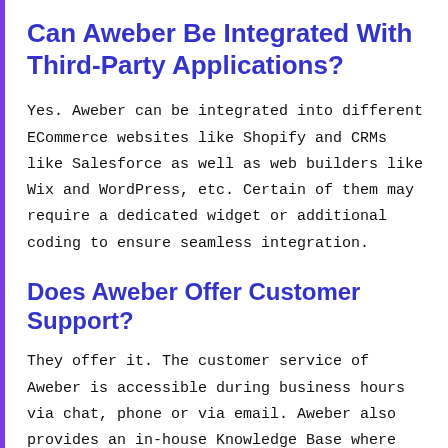Can Aweber Be Integrated With Third-Party Applications?
Yes. Aweber can be integrated into different ECommerce websites like Shopify and CRMs like Salesforce as well as web builders like Wix and WordPress, etc. Certain of them may require a dedicated widget or additional coding to ensure seamless integration.
Does Aweber Offer Customer Support?
They offer it. The customer service of Aweber is accessible during business hours via chat, phone or via email. Aweber also provides an in-house Knowledge Base where you can learn more about the platform, videos as well as live webinars. scheduled maintenance times of the platform. For those who are new to the platform it offers a toolkit that can be downloaded containing strategies and documents in running